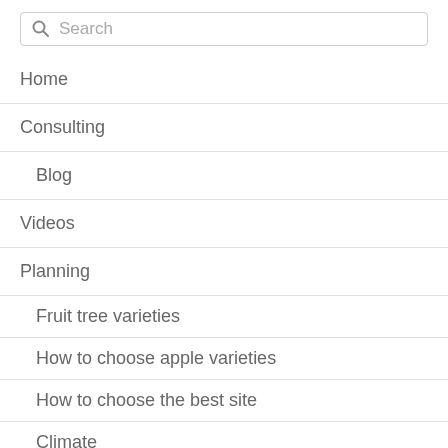[Figure (screenshot): Search input box with magnifying glass icon and placeholder text 'Search']
Home
Consulting
Blog
Videos
Planning
Fruit tree varieties
How to choose apple varieties
How to choose the best site
Climate
Soil
Shelter belts
Rootstock and tree size